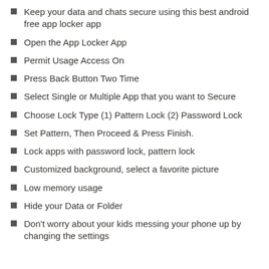Keep your data and chats secure using this best android free app locker app
Open the App Locker App
Permit Usage Access On
Press Back Button Two Time
Select Single or Multiple App that you want to Secure
Choose Lock Type (1) Pattern Lock (2) Password Lock
Set Pattern, Then Proceed & Press Finish.
Lock apps with password lock, pattern lock
Customized background, select a favorite picture
Low memory usage
Hide your Data or Folder
Don't worry about your kids messing your phone up by changing the settings